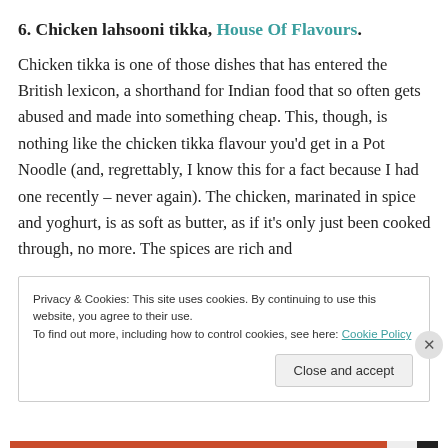6. Chicken lahsooni tikka, House Of Flavours.
Chicken tikka is one of those dishes that has entered the British lexicon, a shorthand for Indian food that so often gets abused and made into something cheap. This, though, is nothing like the chicken tikka flavour you'd get in a Pot Noodle (and, regrettably, I know this for a fact because I had one recently – never again). The chicken, marinated in spice and yoghurt, is as soft as butter, as if it's only just been cooked through, no more. The spices are rich and
Privacy & Cookies: This site uses cookies. By continuing to use this website, you agree to their use.
To find out more, including how to control cookies, see here: Cookie Policy
Close and accept